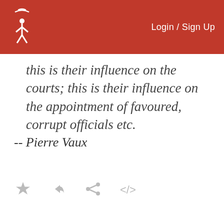Login / Sign Up
this is their influence on the courts; this is their influence on the appointment of favoured, corrupt officials etc.
-- Pierre Vaux